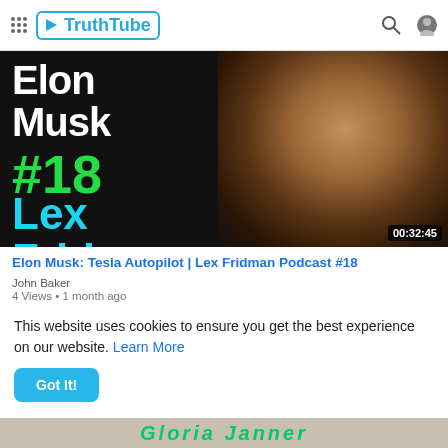TruthTube
[Figure (photo): Video thumbnail showing Elon Musk headshot on black background with text overlays: 'Elon Musk', '#18', 'Lex Fridman' and duration 00:32:45]
Elon Musk: Tesla Autopilot | Lex Fridman Podcast #18
John Baker
4 Views • 1 month ago
This website uses cookies to ensure you get the best experience on our website. Learn More
Got It!
[Figure (screenshot): Bottom strip partially visible showing colorful text]